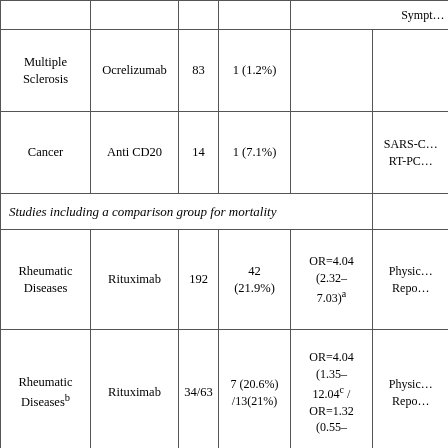| Disease | Drug | N | Mortality n(%) | OR (95% CI) | Outcome |
| --- | --- | --- | --- | --- | --- |
| Multiple Sclerosis | Ocrelizumab | 83 | 1 (1.2%) |  | Sympt… |
| Cancer | Anti CD20 | 14 | 1 (7.1%) |  | SARS-C… RT-PC… |
| Studies including a comparison group for mortality |  |  |  |  |  |
| Rheumatic Diseases | Rituximab | 192 | 42 (21.9%) | OR=4.04 (2.32–7.03)a | Physic… Repo… |
| Rheumatic Diseasesb | Rituximab | 34/63 | 7 (20.6%) /13(21%) | OR=4.04 (1.35–12.04c / OR=1.32 (0.55– | Physic… Repo… |